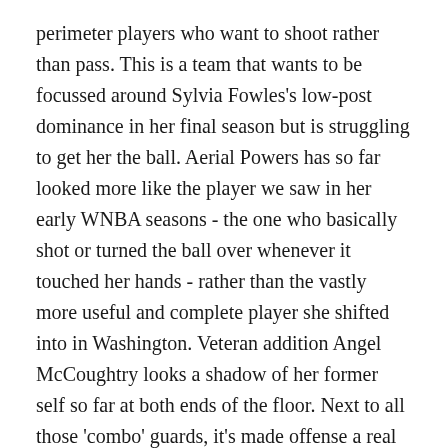perimeter players who want to shoot rather than pass. This is a team that wants to be focussed around Sylvia Fowles's low-post dominance in her final season but is struggling to get her the ball. Aerial Powers has so far looked more like the player we saw in her early WNBA seasons - the one who basically shot or turned the ball over whenever it touched her hands - rather than the vastly more useful and complete player she shifted into in Washington. Veteran addition Angel McCoughtry looks a shadow of her former self so far at both ends of the floor. Next to all those 'combo' guards, it's made offense a real struggle in their opening three games.
The positive angle is that the Lynx started slowly last year as well, before going on a tear when players arrived from overseas and Clarendon was signed to fix the 2021 point guard issues. The problem is that Minnesota may